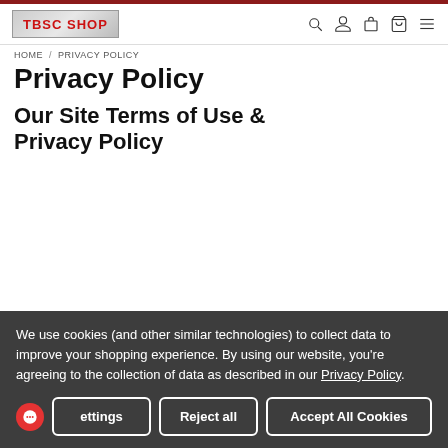TBSC SHOP
HOME / PRIVACY POLICY
Privacy Policy
Our Site Terms of Use & Privacy Policy
We use cookies (and other similar technologies) to collect data to improve your shopping experience. By using our website, you're agreeing to the collection of data as described in our Privacy Policy.
Settings | Reject all | Accept All Cookies